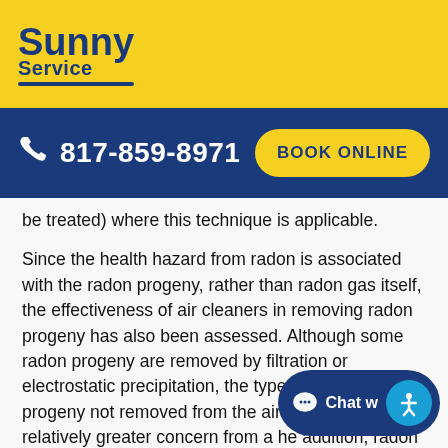[Figure (logo): Sunny Service logo in blue on yellow background]
817-859-8971   BOOK ONLINE
be treated) where this technique is applicable.
Since the health hazard from radon is associated with the radon progeny, rather than radon gas itself, the effectiveness of air cleaners in removing radon progeny has also been assessed. Although some radon progeny are removed by filtration or electrostatic precipitation, the types of radon progeny not removed from the air may be of relatively greater concern from a he addition, radon gas concentrations and can continue to be a source of radon progeny in